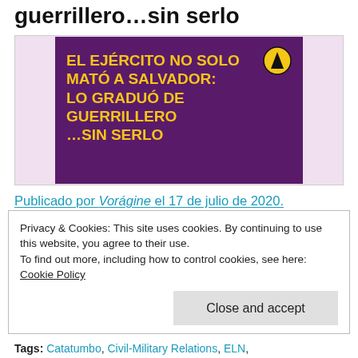guerrillero…sin serlo
[Figure (photo): Purple background image with yellow bold text reading 'EL EJÉRCITO NO SOLO MATÓ A SALVADOR: LO GRADUÓ DE GUERRILLERO …SIN SERLO' and a yellow/black logo in the top right corner.]
Publicado por Vorágine el 17 de julio de 2020.
After killing him in late June in Catatumbo,
Privacy & Cookies: This site uses cookies. By continuing to use this website, you agree to their use.
To find out more, including how to control cookies, see here: Cookie Policy
Close and accept
Tags: Catatumbo, Civil-Military Relations, ELN,